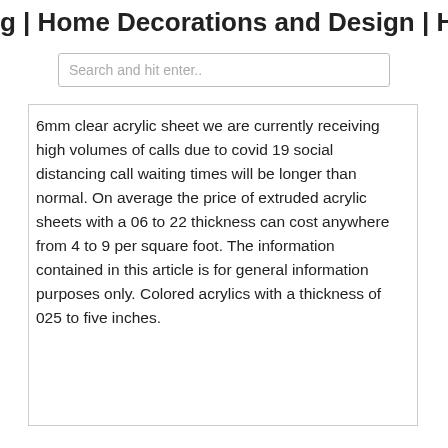g | Home Decorations and Design | H
Search and hit enter..
6mm clear acrylic sheet we are currently receiving high volumes of calls due to covid 19 social distancing call waiting times will be longer than normal. On average the price of extruded acrylic sheets with a 06 to 22 thickness can cost anywhere from 4 to 9 per square foot. The information contained in this article is for general information purposes only. Colored acrylics with a thickness of 025 to five inches.